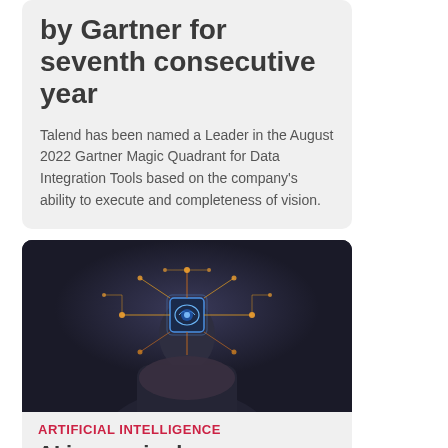by Gartner for seventh consecutive year
Talend has been named a Leader in the August 2022 Gartner Magic Quadrant for Data Integration Tools based on the company's ability to execute and completeness of vision.
[Figure (photo): A person holding out their hand with a glowing AI brain chip and circuit board connections floating above, on a dark background.]
ARTIFICIAL INTELLIGENCE
AI increasingly